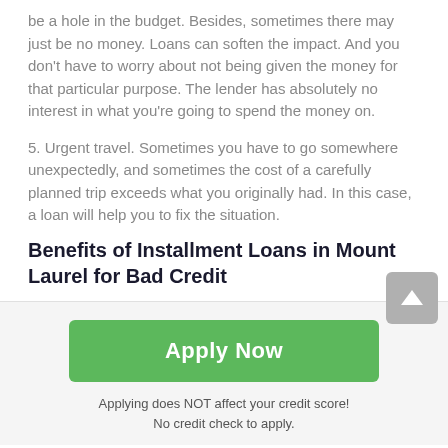be a hole in the budget. Besides, sometimes there may just be no money. Loans can soften the impact. And you don't have to worry about not being given the money for that particular purpose. The lender has absolutely no interest in what you're going to spend the money on.
5. Urgent travel. Sometimes you have to go somewhere unexpectedly, and sometimes the cost of a carefully planned trip exceeds what you originally had. In this case, a loan will help you to fix the situation.
Benefits of Installment Loans in Mount Laurel for Bad Credit
[Figure (other): Green 'Apply Now' button with text below: 'Applying does NOT affect your credit score! No credit check to apply.']